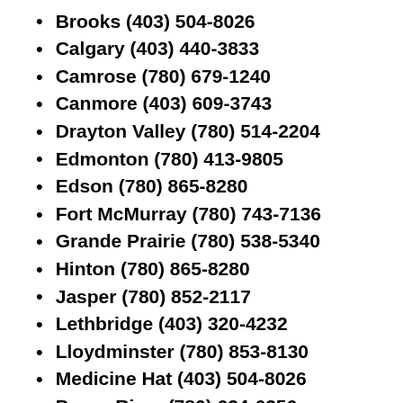Brooks (403) 504-8026
Calgary (403) 440-3833
Camrose (780) 679-1240
Canmore (403) 609-3743
Drayton Valley (780) 514-2204
Edmonton (780) 413-9805
Edson (780) 865-8280
Fort McMurray (780) 743-7136
Grande Prairie (780) 538-5340
Hinton (780) 865-8280
Jasper (780) 852-2117
Lethbridge (403) 320-4232
Lloydminster (780) 853-8130
Medicine Hat (403) 504-8026
Peace River (780) 624-6256
Red Deer (403) 343-6400
Slave Lake (780) 523-6600
Spruce Grove (780) 962-7618